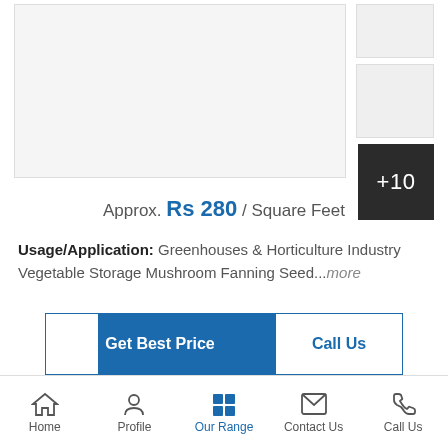[Figure (screenshot): Product image placeholder with thumbnail images on the right and a +10 overlay button]
Approx. Rs 280 / Square Feet
Usage/Application: Greenhouses & Horticulture Industry Vegetable Storage Mushroom Fanning Seed...more
Get Best Price
Call Us
Celdek Cooling Pad
Home | Profile | Our Range | Contact Us | Call Us